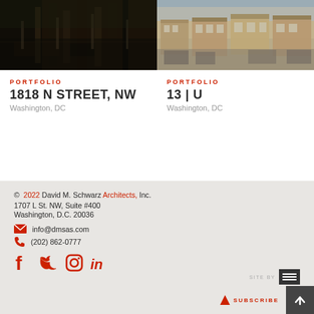[Figure (photo): Street view photo of 1818 N Street NW, Washington DC - dark urban street scene]
[Figure (photo): Street view photo of 13|U, Washington DC - daytime commercial street with storefronts]
PORTFOLIO
1818 N STREET, NW
Washington, DC
PORTFOLIO
13 | U
Washington, DC
© 2022 David M. Schwarz Architects, Inc.
1707 L St. NW, Suite #400
Washington, D.C. 20036
info@dmsas.com
(202) 862-0777